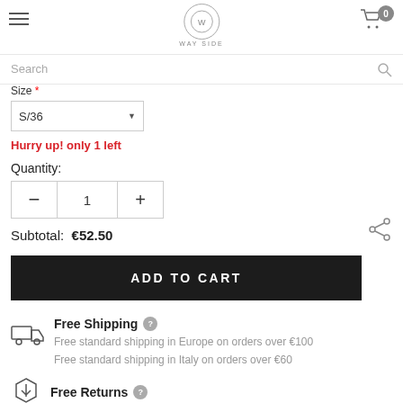WAY SIDE — navigation, logo, cart
Search
Size *
S/36
Hurry up! only 1 left
Quantity:
1
Subtotal:  €52.50
ADD TO CART
Free Shipping
Free standard shipping in Europe on orders over €100
Free standard shipping in Italy on orders over €60
Free Returns